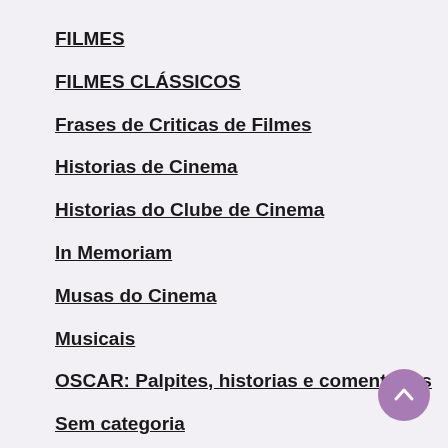FILMES
FILMES CLÁSSICOS
Frases de Criticas de Filmes
Historias de Cinema
Historias do Clube de Cinema
In Memoriam
Musas do Cinema
Musicais
OSCAR: Palpites, historias e comentários
Sem categoria